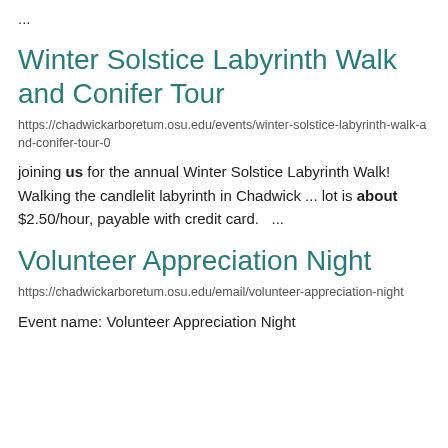...
Winter Solstice Labyrinth Walk and Conifer Tour
https://chadwickarboretum.osu.edu/events/winter-solstice-labyrinth-walk-and-conifer-tour-0
joining us for the annual Winter Solstice Labyrinth Walk! Walking the candlelit labyrinth in Chadwick ... lot is about $2.50/hour, payable with credit card.   ...
Volunteer Appreciation Night
https://chadwickarboretum.osu.edu/email/volunteer-appreciation-night
Event name: Volunteer Appreciation Night